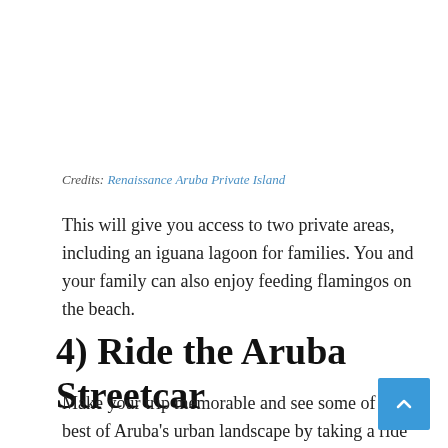Credits: Renaissance Aruba Private Island
This will give you access to two private areas, including an iguana lagoon for families. You and your family can also enjoy feeding flamingos on the beach.
4) Ride the Aruba Streetcar
Make your trip memorable and see some of the best of Aruba's urban landscape by taking a ride on the Aruba Streetcar.